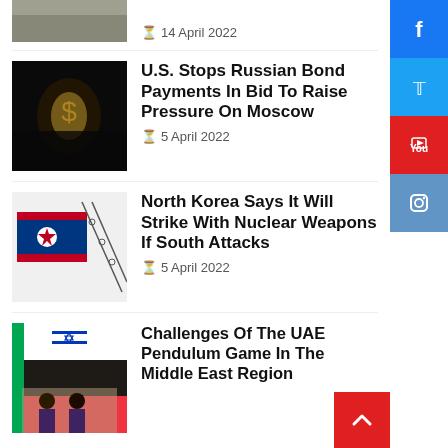[Figure (photo): Top partial news image cropped at top of page]
14 April 2022
[Figure (photo): Dark image with illuminated Russian currency/bond imagery]
U.S. Stops Russian Bond Payments In Bid To Raise Pressure On Moscow
5 April 2022
[Figure (photo): North Korea flag with barbed wire]
North Korea Says It Will Strike With Nuclear Weapons If South Attacks
5 April 2022
[Figure (photo): Meeting scene with UAE, US, Israel flags]
Challenges Of The UAE Pendulum Game In The Middle East Region